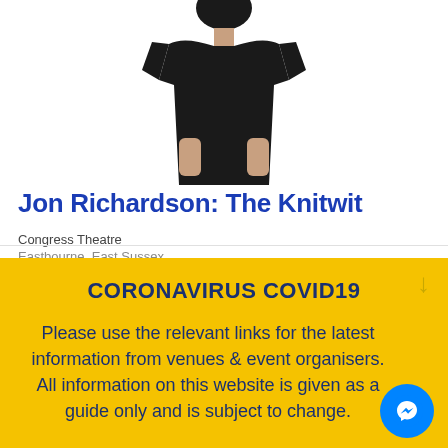[Figure (photo): Person wearing a black t-shirt, upper body visible, face partially cut off at top, white background]
Jon Richardson: The Knitwit
Congress Theatre
Eastbourne, East Sussex
CORONAVIRUS COVID19
Please use the relevant links for the latest information from venues & event organisers. All information on this website is given as a guide only and is subject to change.